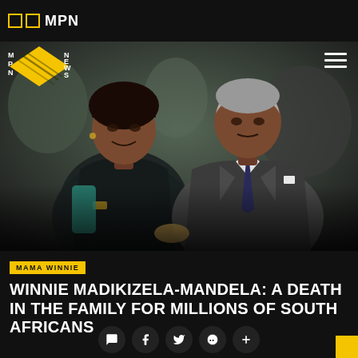□□ MPN
[Figure (logo): MPN News logo with yellow diamond shape and letters M, P, N, N, E, W, S]
[Figure (photo): Winnie Madikizela-Mandela and Nelson Mandela seated together at a public event. Winnie wears a teal turtleneck and dark jacket; Nelson wears a grey pinstripe suit with a dark tie.]
MAMA WINNIE
WINNIE MADIKIZELA-MANDELA: A DEATH IN THE FAMILY FOR MILLIONS OF SOUTH AFRICANS